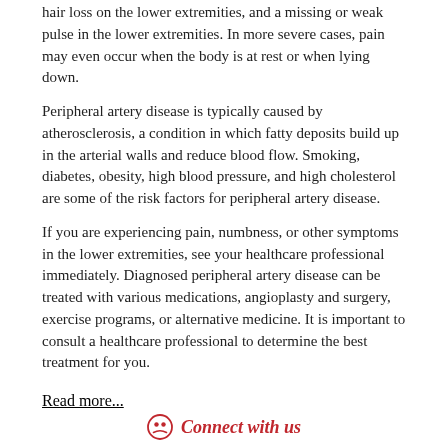hair loss on the lower extremities, and a missing or weak pulse in the lower extremities. In more severe cases, pain may even occur when the body is at rest or when lying down.
Peripheral artery disease is typically caused by atherosclerosis, a condition in which fatty deposits build up in the arterial walls and reduce blood flow. Smoking, diabetes, obesity, high blood pressure, and high cholesterol are some of the risk factors for peripheral artery disease.
If you are experiencing pain, numbness, or other symptoms in the lower extremities, see your healthcare professional immediately. Diagnosed peripheral artery disease can be treated with various medications, angioplasty and surgery, exercise programs, or alternative medicine. It is important to consult a healthcare professional to determine the best treatment for you.
Read more...
Connect with us